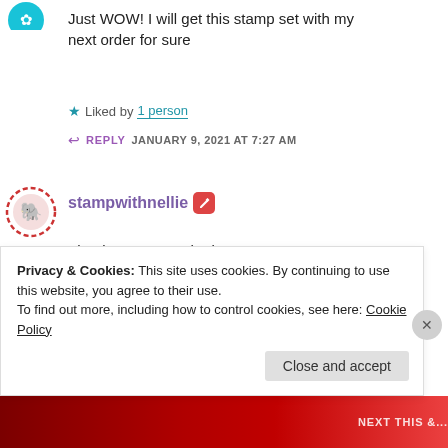[Figure (illustration): Small teal/turquoise avatar icon with decorative elements, partially cropped at top left]
Just WOW! I will get this stamp set with my next order for sure
★ Liked by 1 person
↩ REPLY  JANUARY 9, 2021 AT 7:27 AM
[Figure (illustration): Circular avatar with dashed pink/red border showing a small animal icon]
stampwithnellie ✏
Thank you so much Tina xx
★ Like
↩ REPLY  JANUARY 9, 2021 AT 8:29 AM
Privacy & Cookies: This site uses cookies. By continuing to use this website, you agree to their use.
To find out more, including how to control cookies, see here: Cookie Policy